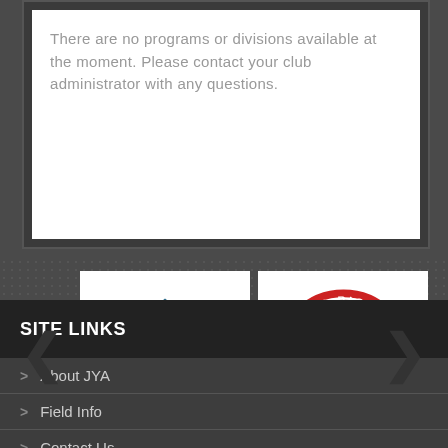There are no programs or divisions available at the moment. Please contact your club administrator with any questions.
[Figure (logo): Newbold Home - classic home design logo with house roof icon in blue and dark blue]
[Figure (logo): Mister Ricks Hoagies circular red badge logo with face illustration]
SITE LINKS
About JYA
Field Info
Contact Us